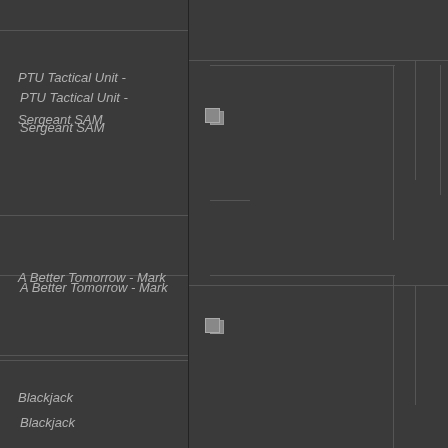PTU Tactical Unit - Sergeant SAM
A Better Tomorrow - Mark
Blackjack
ASTRO BOY (60th Anniversary Version)